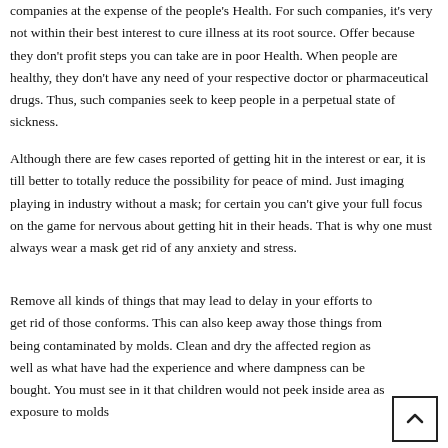companies at the expense of the people's Health. For such companies, it's very not within their best interest to cure illness at its root source. Offer because they don't profit steps you can take are in poor Health. When people are healthy, they don't have any need of your respective doctor or pharmaceutical drugs. Thus, such companies seek to keep people in a perpetual state of sickness.
Although there are few cases reported of getting hit in the interest or ear, it is till better to totally reduce the possibility for peace of mind. Just imaging playing in industry without a mask; for certain you can't give your full focus on the game for nervous about getting hit in their heads. That is why one must always wear a mask get rid of any anxiety and stress.
Remove all kinds of things that may lead to delay in your efforts to get rid of those conforms. This can also keep away those things from being contaminated by molds. Clean and dry the affected region as well as what have had the experience and where dampness can be bought. You must see in it that children would not peek inside area as exposure to molds